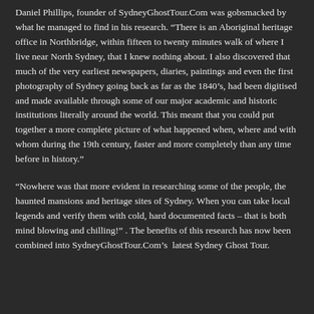Daniel Phillips, founder of SydneyGhostTour.Com was gobsmacked by what he managed to find in his research. “There is an Aboriginal heritage office in Northbridge, within fifteen to twenty minutes walk of where I live near North Sydney, that I knew nothing about. I also discovered that much of the very earliest newspapers, diaries, paintings and even the first photography of Sydney going back as far as the 1840’s, had been digitised and made available through some of our major academic and historic institutions literally around the world. This meant that you could put together a more complete picture of what happened when, where and with whom during the 19th century, faster and more completely than any time before in history.”
“Nowhere was that more evident in researching some of the people, the haunted mansions and heritage sites of Sydney. When you can take local legends and verify them with cold, hard documented facts – that is both mind blowing and chilling!” . The benefits of this research has now been combined into SydneyGhostTour.Com’s  latest Sydney Ghost Tour.